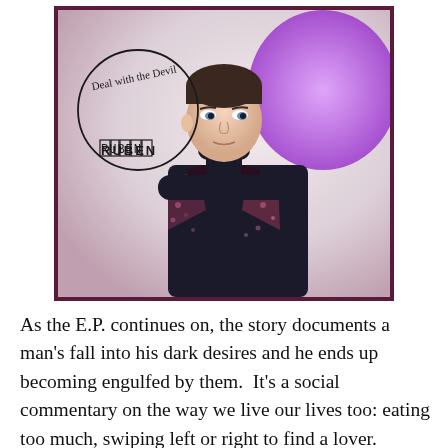[Figure (photo): Album cover photo of a young man in a patterned velvet blazer over a dark turtleneck, with handwritten text 'Deal with the Devil' in a circle logo and 'RUBEN' in block letters below, purple bokeh background on the right side.]
As the E.P. continues on, the story documents a man's fall into his dark desires and he ends up becoming engulfed by them.  It's a social commentary on the way we live our lives too: eating too much, swiping left or right to find a lover. Everything is so instant and quick and we have way too much, so I wanted to comment